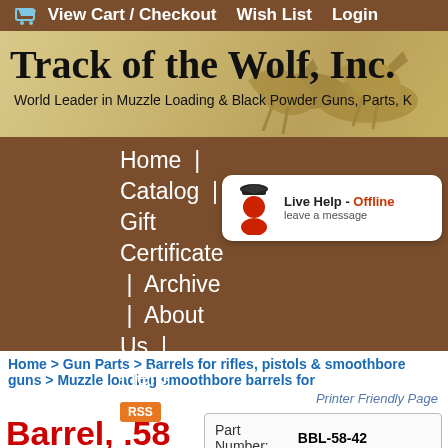View Cart / Checkout   Wish List   Login
[Figure (logo): Track of the Wolf, Inc. banner with horse riders illustration. Title reads: Track of the Wolf, Inc. Subtitle: World Leader in Muzzle Loading & Black Powder Guns, Parts, K]
Home | Catalog | Gift Certificate | Archive | About Us | Help
[Figure (other): Live Help - Offline, leave a message button with figure icon]
RSS
Home > Gun Parts > Barrels for rifles, pistols & smoothbore guns > Muzzle loading smoothbore barrels for
Printer Friendly Page
Barrel, .58 caliber
| Field | Value |
| --- | --- |
| Part Number: | BBL-58-42 |
| Availability: | ⌛ Expect 270 Days ⌛ |
| Price: | $235.00 |